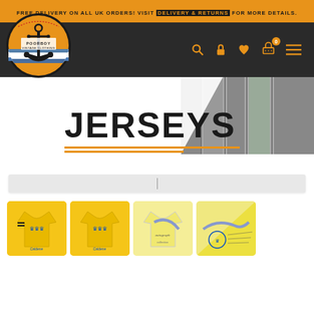FREE DELIVERY ON ALL UK ORDERS! VISIT DELIVERY & RETURNS FOR MORE DETAILS.
[Figure (logo): Poorboy Vintage Clothing circular logo with anchor and nautical design in orange and dark colors]
JERSEYS
[Figure (photo): Background photo of clothing racks in a store]
[Figure (photo): Filter/search bar UI element]
[Figure (photo): Four yellow/gold jersey product thumbnail images showing Sweden football jerseys with crowns and signatures]